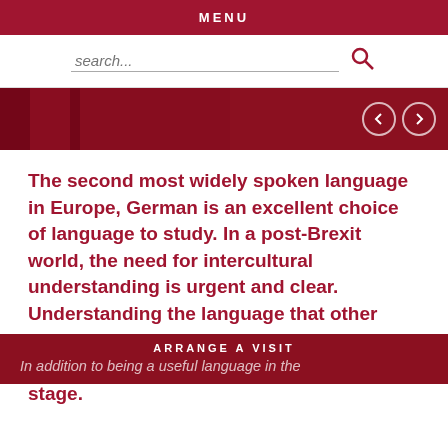MENU
search...
[Figure (screenshot): Red hero banner image with dark overlay and navigation arrows]
The second most widely spoken language in Europe, German is an excellent choice of language to study. In a post-Brexit world, the need for intercultural understanding is urgent and clear. Understanding the language that other people use is key to understanding the motivation of those on the international stage.
ARRANGE A VISIT
In addition to being a useful language in the